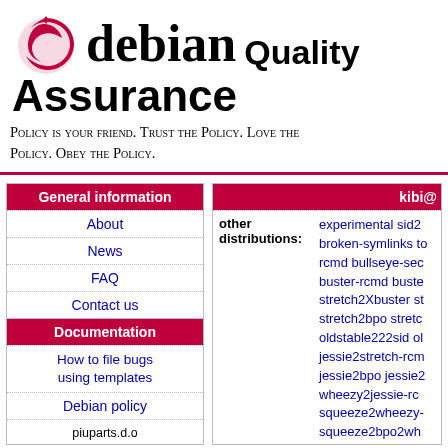[Figure (logo): Debian swirl logo in red with 'debian' in serif font, 'Quality' in sans-serif, and 'Assurance' below]
debian Quality Assurance
Policy is your friend. Trust the Policy. Love the Policy. Obey the Policy.
| General information | kibi@ |
| --- | --- |
| About |  |
| News |  |
| FAQ |  |
| Contact us |  |
| Documentation | other distributions: experimental sid2... broken-symlinks to rcmd bullseye-sec... buster-rcmd buste... stretch2Xbuster st... stretch2bpo stretc... oldstable222sid ol... jessie2stretch-rcm... jessie2bpo jessie2... wheezy2jessie-rc... squeeze2wheezy-... squeeze2bpo2wh... |
| How to file bugs using templates |  |
| Debian policy |  |
| piuparts.d.o configuration: | fail: 0 |